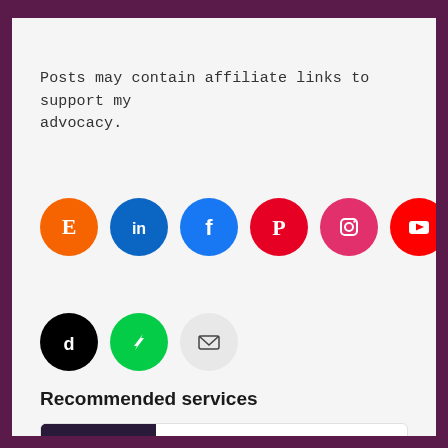Posts may contain affiliate links to support my advocacy.
[Figure (infographic): Row of social media icon circles: Etsy (orange), LinkedIn (blue), Facebook (blue), Pinterest (red), Instagram (pink), YouTube (red), Twitter (light blue), Tumblr (dark navy). Second row: TikTok (black), DeviantArt (green), Email (light gray).]
Recommended services
[Figure (photo): Photo of dark purple/navy business cards with pink accent lines, shown at an angle on a gray background.]
I will design your professional logo and luxury business card